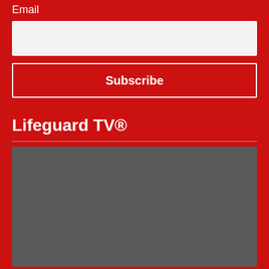Email
[Figure (other): Email input text field with light gray background]
Subscribe
Lifeguard TV®
[Figure (other): Dark gray video player placeholder area]